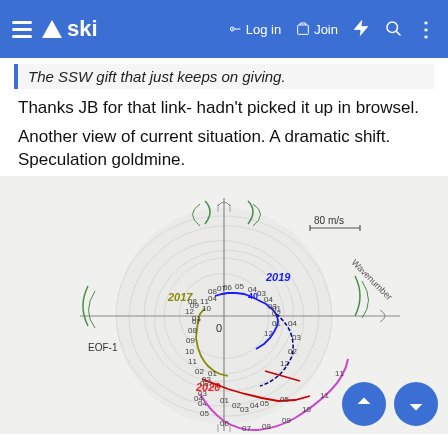ski — Log in  Join
The SSW gift that just keeps on giving.
Thanks JB for that link- hadn't picked it up in browsel.
Another view of current situation. A dramatic shift. Speculation goldmine.
[Figure (other): Polar/phase-space diagram showing stratospheric wind trajectories labeled 2017, 2019, 2020 with colored paths (olive, blue, red, pink), axes labeled EOF-1 and 0, scale marker 80 m/s, wavenumber annotation, and background gray circle with thin trajectory lines.]